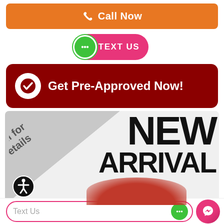[Figure (screenshot): Orange 'Call Now' button with phone icon]
[Figure (screenshot): Pink pill 'TEXT US' button with green speech bubble icon]
[Figure (screenshot): Dark red rounded button with white checkmark circle and text 'Get Pre-Approved Now!']
[Figure (screenshot): New Arrival banner with grey triangle, 'Call for Details' diagonal text, large 'NEW ARRIVAL' text, red car hint, and accessibility icon]
[Figure (screenshot): Bottom bar with 'Text Us' pill, green chat bubble, and pink messenger icon]